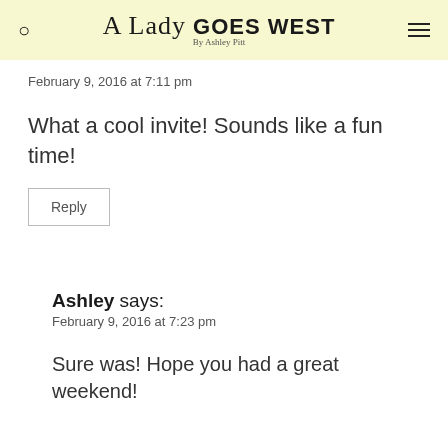A Lady GOES WEST By Ashley Pitt
February 9, 2016 at 7:11 pm
What a cool invite! Sounds like a fun time!
Reply
Ashley says:
February 9, 2016 at 7:23 pm
Sure was! Hope you had a great weekend!